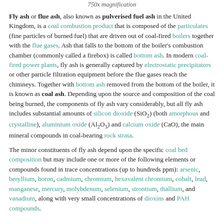750x magnification
Fly ash or flue ash, also known as pulverised fuel ash in the United Kingdom, is a coal combustion product that is composed of the particulates (fine particles of burned fuel) that are driven out of coal-fired boilers together with the flue gases. Ash that falls to the bottom of the boiler's combustion chamber (commonly called a firebox) is called bottom ash. In modern coal-fired power plants, fly ash is generally captured by electrostatic precipitators or other particle filtration equipment before the flue gases reach the chimneys. Together with bottom ash removed from the bottom of the boiler, it is known as coal ash. Depending upon the source and composition of the coal being burned, the components of fly ash vary considerably, but all fly ash includes substantial amounts of silicon dioxide (SiO2) (both amorphous and crystalline), aluminium oxide (Al2O3) and calcium oxide (CaO), the main mineral compounds in coal-bearing rock strata.
The minor constituents of fly ash depend upon the specific coal bed composition but may include one or more of the following elements or compounds found in trace concentrations (up to hundreds ppm): arsenic, beryllium, boron, cadmium, chromium, hexavalent chromium, cobalt, lead, manganese, mercury, molybdenum, selenium, strontium, thallium, and vanadium, along with very small concentrations of dioxins and PAH compounds.